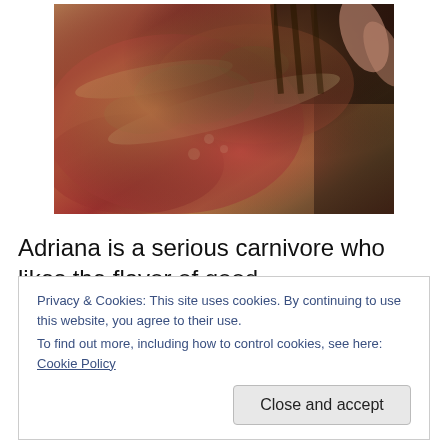[Figure (photo): Close-up photo of raw meat (likely lamb or pork chops) with herbs, garlic, and seasoning on a grill or dark surface.]
Adriana is a serious carnivore who likes the flavor of good meat to shine through. The mild flavor and tender texture
Privacy & Cookies: This site uses cookies. By continuing to use this website, you agree to their use.
To find out more, including how to control cookies, see here: Cookie Policy
Close and accept